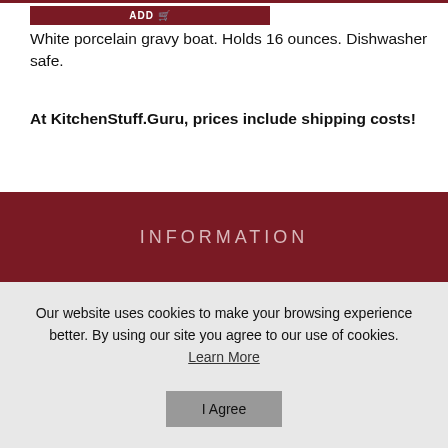White porcelain gravy boat. Holds 16 ounces. Dishwasher safe.
At KitchenStuff.Guru, prices include shipping costs!
INFORMATION
Our website uses cookies to make your browsing experience better. By using our site you agree to our use of cookies.
Learn More
I Agree